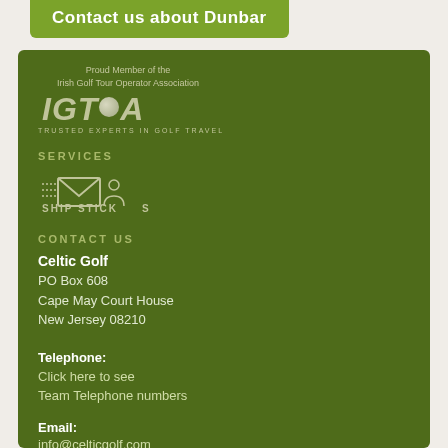Contact us about Dunbar
[Figure (logo): IGTOA logo - Proud Member of the Irish Golf Tour Operator Association, Trusted Experts in Golf Travel]
SERVICES
[Figure (logo): Ship Sticks logo with envelope icon]
CONTACT US
Celtic Golf
PO Box 608
Cape May Court House
New Jersey 08210
Telephone:
Click here to see
Team Telephone numbers
Email:
info@celticgolf.com